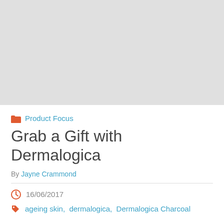[Figure (photo): Grey placeholder image area at the top of the page]
Product Focus
Grab a Gift with Dermalogica
By Jayne Crammond
16/06/2017
ageing skin, dermalogica, Dermalogica Charcoal